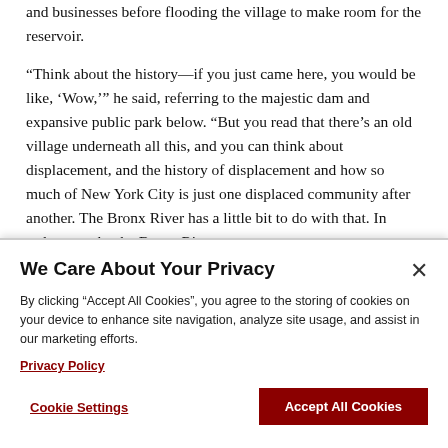and businesses before flooding the village to make room for the reservoir.
“Think about the history—if you just came here, you would be like, ‘Wow,’” he said, referring to the majestic dam and expansive public park below. “But you read that there’s an old village underneath all this, and you can think about displacement, and the history of displacement and how so much of New York City is just one displaced community after another. The Bronx River has a little bit to do with that. In order to make the Bronx River
We Care About Your Privacy
By clicking “Accept All Cookies”, you agree to the storing of cookies on your device to enhance site navigation, analyze site usage, and assist in our marketing efforts.
Privacy Policy
Cookie Settings
Accept All Cookies